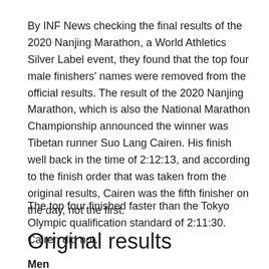By INF News checking the final results of the 2020 Nanjing Marathon, a World Athletics Silver Label event, they found that the top four male finishers' names were removed from the official results. The result of the 2020 Nanjing Marathon, which is also the National Marathon Championship announced the winner was Tibetan runner Suo Lang Cairen. His finish well back in the time of 2:12:13, and according to the finish order that was taken from the original results, Cairen was the fifth finisher on the day, not the first.
The top four finished faster than the Tokyo Olympic qualification standard of 2:11:30. Cairen did not.
Original results
Men